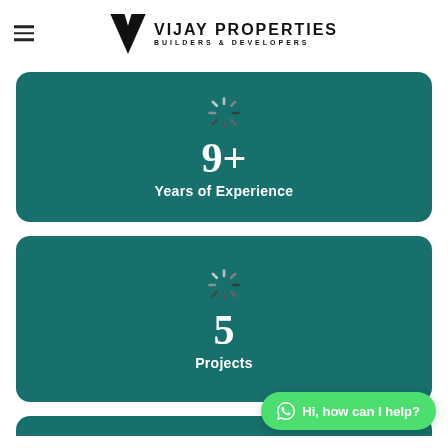[Figure (logo): Vijay Properties Builders & Developers logo with V-shaped chevron icon and company name]
[Figure (infographic): Teal card showing a loading spinner icon, the number 9+ and text 'Years of Experience']
[Figure (infographic): Teal card showing a loading spinner icon, the number 5 and text 'Projects']
Hi, how can I help?